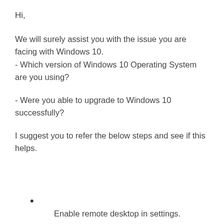Hi,
We will surely assist you with the issue you are facing with Windows 10.
- Which version of Windows 10 Operating System are you using?
- Were you able to upgrade to Windows 10 successfully?
I suggest you to refer the below steps and see if this helps.
Enable remote desktop in settings.